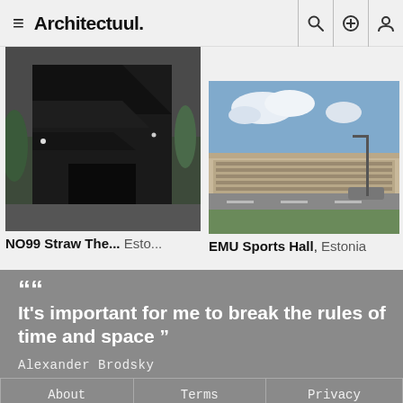Architectuul.
[Figure (photo): Dark angular building exterior with black timber cladding and dramatic staircase geometry, surrounded by green trees]
NO99 Straw The...  Esto...
[Figure (photo): Modern light-coloured sports hall building with flat roof beside a road under blue sky with clouds]
EMU Sports Hall,  Estonia
““ It's important for me to break the rules of time and space ”
Alexander Brodsky
| About | Terms | Privacy |
| Pinterest | Facebook | Twitter |